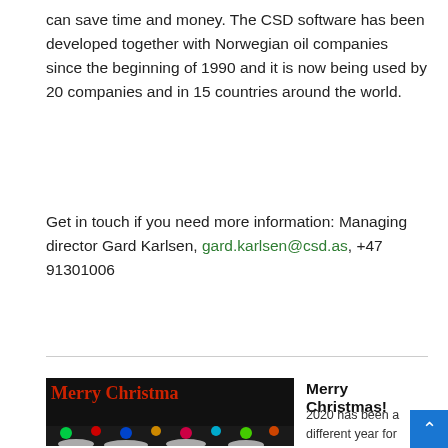can save time and money. The CSD software has been developed together with Norwegian oil companies since the beginning of 1990 and it is now being used by 20 companies and in 15 countries around the world.
Get in touch if you need more information: Managing director Gard Karlsen, gard.karlsen@csd.as, +47 91301006
[Figure (photo): Christmas card image showing 'Merry Christmas' text in red on dark background with festive lights/decorations at the bottom]
Merry Christmas!
2020 has been a different year for all of us! We would like to use this opportunity to wish you all a Merry Christmas an...